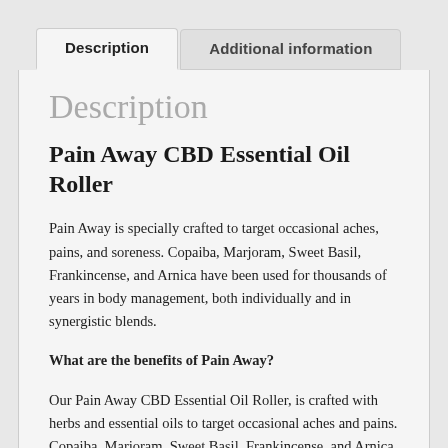Description | Additional information
Description
Pain Away CBD Essential Oil Roller
Pain Away is specially crafted to target occasional aches, pains, and soreness. Copaiba, Marjoram, Sweet Basil, Frankincense, and Arnica have been used for thousands of years in body management, both individually and in synergistic blends.
What are the benefits of Pain Away?
Our Pain Away CBD Essential Oil Roller, is crafted with herbs and essential oils to target occasional aches and pains. Copaiba, Marjoram, Sweet Basil, Frankincense, and Arnica have been used for thousands of years in body